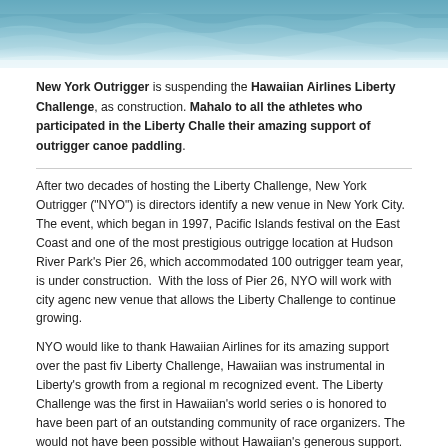[Figure (photo): Ocean water surface photograph used as a banner at the top of the page]
New York Outrigger is suspending the Hawaiian Airlines Liberty Challenge, as construction. Mahalo to all the athletes who participated in the Liberty Challenge and their amazing support of outrigger canoe paddling.
After two decades of hosting the Liberty Challenge, New York Outrigger ("NYO") is directors identify a new venue in New York City. The event, which began in 1997, Pacific Islands festival on the East Coast and one of the most prestigious outrigge location at Hudson River Park's Pier 26, which accommodated 100 outrigger team year, is under construction. With the loss of Pier 26, NYO will work with city agenc new venue that allows the Liberty Challenge to continue growing.
NYO would like to thank Hawaiian Airlines for its amazing support over the past fiv Liberty Challenge, Hawaiian was instrumental in Liberty's growth from a regional m recognized event. The Liberty Challenge was the first in Hawaiian's world series o is honored to have been part of an outstanding community of race organizers. The would not have been possible without Hawaiian's generous support.
NYO would also like to thank Hudson River Park Trust, whose support allowed the Manhattan starting in 2013. Hosting our 20th event this year in the same location w truly special and deeply meaningful given the incredible revitalization of Manhatta has brought about.